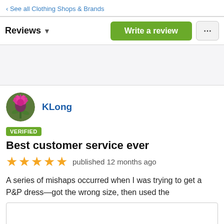‹ See all Clothing Shops & Brands
Reviews ▾
Write a review
[Figure (other): Advertisement/blank area placeholder]
[Figure (illustration): Circular avatar photo of a pink thistle flower on green background]
KLong
VERIFIED
Best customer service ever
★★★★★ published 12 months ago
A series of mishaps occurred when I was trying to get a P&P dress—got the wrong size, then used the
the alone someone the and the and the someone at the d